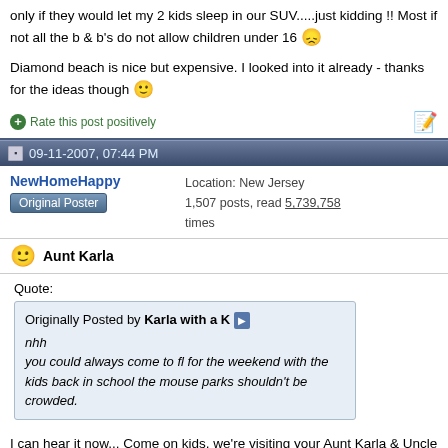I would love to stay at a B &amp; B in Cape May, but only if they would let my 2 kids sleep in our SUV.....just kidding !! Most if not all the b &amp; b's do not allow children under 16 😞

Diamond beach is nice but expensive. I looked into it already - thanks for the ideas though 🙂
Rate this post positively
09-11-2007, 07:44 PM
NewHomeHappy
Original Poster
Location: New Jersey
1,507 posts, read 5,739,758 times
Aunt Karla
Quote:
Originally Posted by Karla with a K
nhh
you could always come to fl for the weekend with the kids back in school the mouse parks shouldn't be crowded.
I can hear it now... Come on kids, we're visiting your Aunt Karla & Uncle Lou in Florida and on the